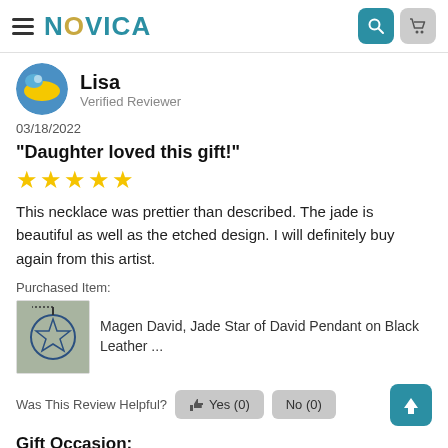NOVICA
Lisa
Verified Reviewer
03/18/2022
"Daughter loved this gift!"
★★★★★
This necklace was prettier than described. The jade is beautiful as well as the etched design. I will definitely buy again from this artist.
Purchased Item:
Magen David, Jade Star of David Pendant on Black Leather ...
Was This Review Helpful?  Yes (0)  No (0)
Gift Occasion:
This was a gift for Daughter